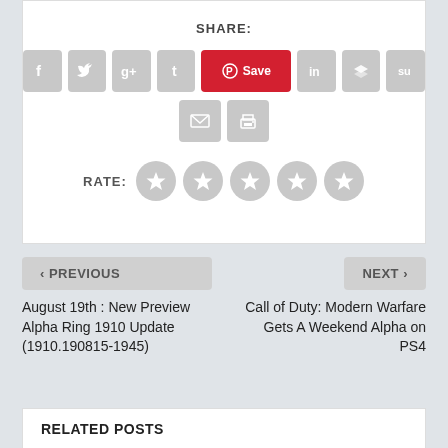SHARE:
[Figure (infographic): Row of social media sharing icons: Facebook, Twitter, Google+, Tumblr, Pinterest Save (red), LinkedIn, Buffer, StumbleUpon; second row: Email, Print]
RATE:
[Figure (infographic): Five grey star rating icons]
< PREVIOUS
August 19th : New Preview Alpha Ring 1910 Update (1910.190815-1945)
NEXT >
Call of Duty: Modern Warfare Gets A Weekend Alpha on PS4
RELATED POSTS